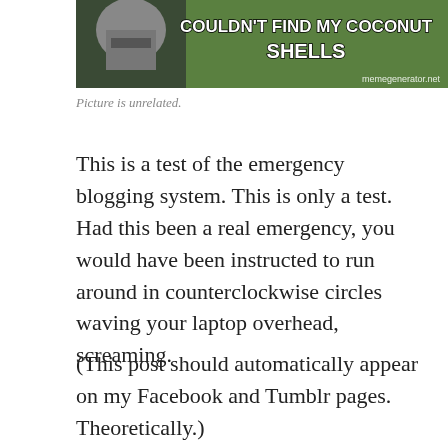[Figure (photo): Meme image showing a knight in armor with text 'COULDN'T FIND MY COCONUT SHELLS' and watermark 'memegenerator.net']
Picture is unrelated.
This is a test of the emergency blogging system. This is only a test. Had this been a real emergency, you would have been instructed to run around in counterclockwise circles waving your laptop overhead, screaming.
(This post should automatically appear on my Facebook and Tumblr pages. Theoretically.)
Update: The “publicize” function in WordPress’ Jetpack works perfectly with Tumblr, which matters very little because I